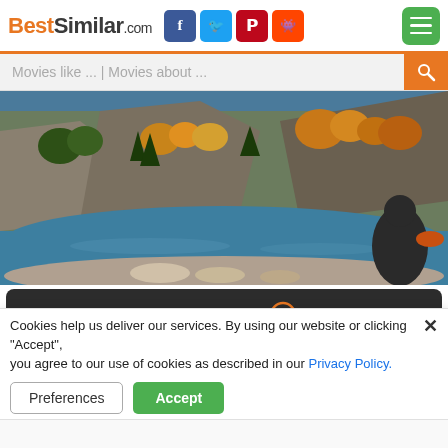BestSimilar.com
[Figure (photo): Scenic mountain river landscape with trees and a person sitting by the water]
TRAILER ▶
Genre: Drama, Romance, Thriller
Country: USA
Duration: 90 min.
Story: A woman starts a new life in a small Wyoming mountain
Cookies help us deliver our services. By using our website or clicking "Accept", you agree to our use of cookies as described in our Privacy Policy.